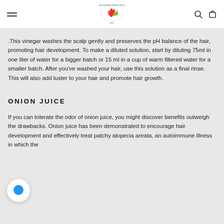Glommed Naturally Oil [logo]
.This vinegar washes the scalp gently and preserves the pH balance of the hair, promoting hair development. To make a diluted solution, start by diluting 75ml in one liter of water for a bigger batch or 15 ml in a cup of warm filtered water for a smaller batch. After you've washed your hair, use this solution as a final rinse. This will also add luster to your hair and promote hair growth.
ONION JUICE
If you can tolerate the odor of onion juice, you might discover benefits outweigh the drawbacks. Onion juice has been demonstrated to encourage hair development and effectively treat patchy alopecia areata, an autoimmune illness in which the